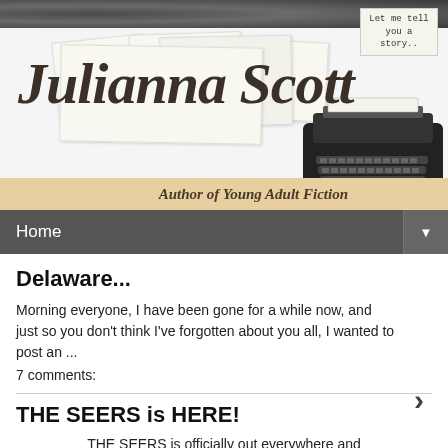[Figure (illustration): Blog header banner for Julianna Scott, Author of Young Adult Fiction. Features a dark grainy top strip, scattered paper/card graphics, a large cursive script signature 'Julianna Scott', a vintage typewriter illustration with a note reading 'Let me tell you a story...' and a tan banner reading 'Author of Young Adult Fiction'.]
Home ▼
Delaware...
Morning everyone, I have been gone for a while now, and just so you don't think I've forgotten about you all, I wanted to post an ...
7 comments:
THE SEERS is HERE!
THE SEERS is officially out everywhere and